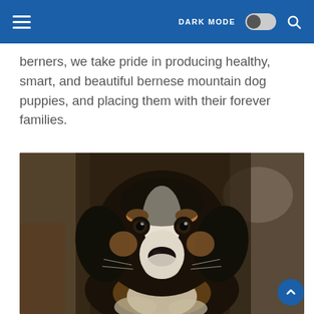DARK MODE [toggle] [search]
berners, we take pride in producing healthy, smart, and beautiful bernese mountain dog puppies, and placing them with their forever families.
[Figure (photo): Close-up portrait of a Bernese Mountain Dog puppy with black, white, and tan fur, looking directly at the camera, sitting indoors with a blurred background.]